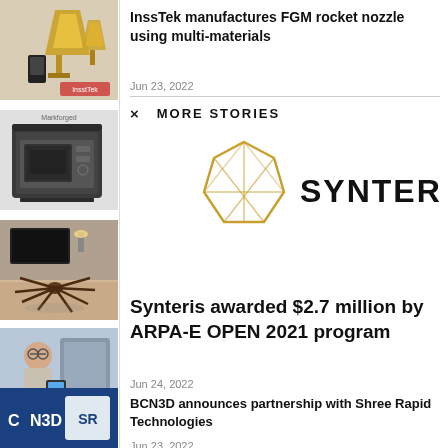[Figure (photo): Thumbnail of a gold rocket nozzle / trophy-like 3D printed part]
InssTek manufactures FGM rocket nozzle using multi-materials
Jun 23, 2022
× MORE STORIES
[Figure (photo): Thumbnail of a large industrial 3D printer machine]
[Figure (photo): Thumbnail of a room with 3D printed spider-like sculpture]
[Figure (logo): Synteris logo – geometric diamond shape with SYNTERIS text]
[Figure (photo): Thumbnail of a man in lab looking at tablet]
Synteris awarded $2.7 million by ARPA-E OPEN 2021 program
Jun 24, 2022
[Figure (photo): Thumbnail of BCN3D and Shree Rapid Technologies logos/branding]
BCN3D announces partnership with Shree Rapid Technologies
Jun 23, 2022